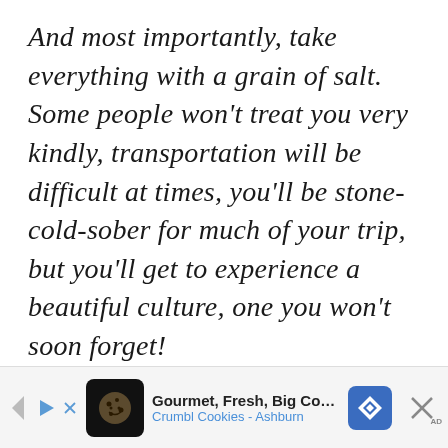And most importantly, take everything with a grain of salt. Some people won't treat you very kindly, transportation will be difficult at times, you'll be stone-cold-sober for much of your trip, but you'll get to experience a beautiful culture, one you won't soon forget!
[Figure (other): Horizontal double divider lines centered on page]
[Figure (other): Advertisement bar: Gourmet, Fresh, Big Cookies - Crumbl Cookies - Ashburn]